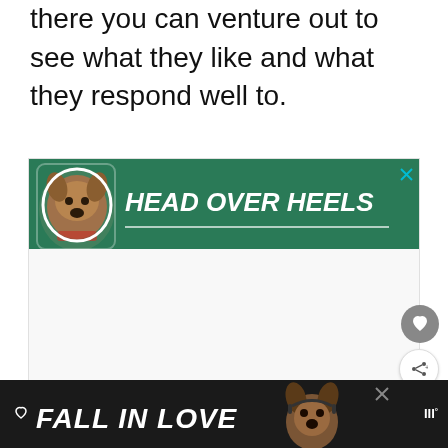there you can venture out to see what they like and what they respond well to.
[Figure (infographic): Advertisement banner with green background showing a dog (Boxer/pit bull mix) with text 'HEAD OVER HEELS' in large white bold italic font with a white underline, and a close button (X) in the top right corner. Below the banner is a white/light grey empty area.]
[Figure (infographic): Bottom advertisement bar with dark/black background showing a heart outline icon, text 'FALL IN LOVE' in large white bold italic font, a dog image on the right side, a close button (X), and a logo 'W°' on the far right.]